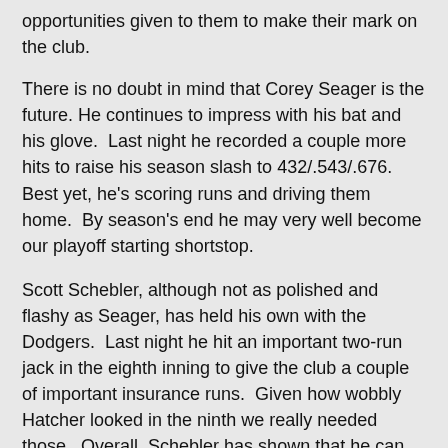opportunities given to them to make their mark on the club.
There is no doubt in mind that Corey Seager is the future. He continues to impress with his bat and his glove. Last night he recorded a couple more hits to raise his season slash to 432/.543/.676. Best yet, he's scoring runs and driving them home. By season's end he may very well become our playoff starting shortstop.
Scott Schebler, although not as polished and flashy as Seager, has held his own with the Dodgers. Last night he hit an important two-run jack in the eighth inning to give the club a couple of important insurance runs. Given how wobbly Hatcher looked in the ninth we really needed those. Overall, Schebler has shown that he can still hit for power in the big leagues. So far he's slashing .261/.320/.652 - not too shabby.
The photo above of Scott Schebler high-fiving Corey Seager in the eighth inning via @Dodgers on twitter. BTW, the Dodgers "Magic Number" is now at 12. Below are more links to check out: